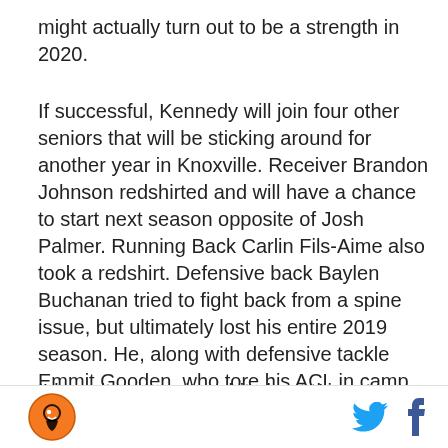might actually turn out to be a strength in 2020.
If successful, Kennedy will join four other seniors that will be sticking around for another year in Knoxville. Receiver Brandon Johnson redshirted and will have a chance to start next season opposite of Josh Palmer. Running Back Carlin Fils-Aime also took a redshirt. Defensive back Baylen Buchanan tried to fight back from a spine issue, but ultimately lost his entire 2019 season. He, along with defensive tackle Emmit Gooden, who tore his ACL in camp, will return for 2020.
I'd say it says quite a bit about this program and coaching staff that those five guys are sticking around
Logo and social icons